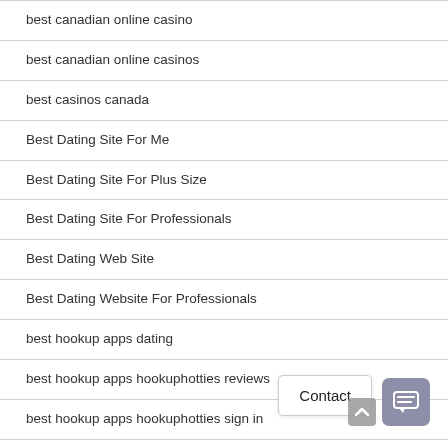best canadian online casino
best canadian online casinos
best casinos canada
Best Dating Site For Me
Best Dating Site For Plus Size
Best Dating Site For Professionals
Best Dating Web Site
Best Dating Website For Professionals
best hookup apps dating
best hookup apps hookuphotties reviews
best hookup apps hookuphotties sign in
best hookup apps review